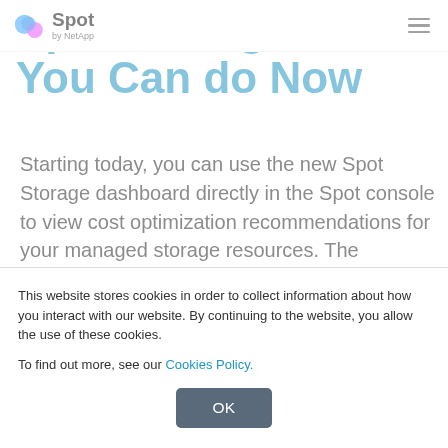Spot by NetApp
Spot Storage – What You Can do Now
Starting today, you can use the new Spot Storage dashboard directly in the Spot console to view cost optimization recommendations for your managed storage resources. The dashboard covers all storage components across
This website stores cookies in order to collect information about how you interact with our website. By continuing to the website, you allow the use of these cookies.

To find out more, see our Cookies Policy.
OK